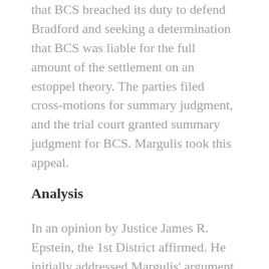that BCS breached its duty to defend Bradford and seeking a determination that BCS was liable for the full amount of the settlement on an estoppel theory. The parties filed cross-motions for summary judgment, and the trial court granted summary judgment for BCS. Margulis took this appeal.
Analysis
In an opinion by Justice James R. Epstein, the 1st District affirmed. He initially addressed Margulis' argument that Bradford's advertising sought to induce the telephone call recipients to use Bradford's specialized services as an insurance broker